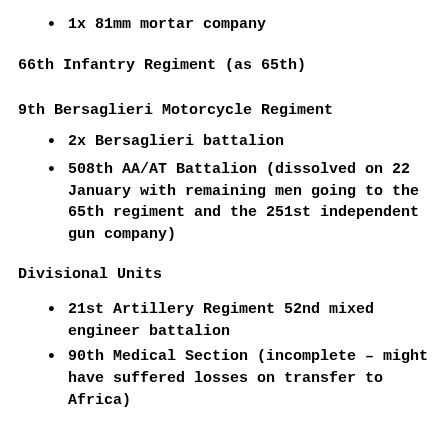1x 81mm mortar company
66th Infantry Regiment (as 65th)
9th Bersaglieri Motorcycle Regiment
2x Bersaglieri battalion
508th AA/AT Battalion (dissolved on 22 January with remaining men going to the 65th regiment and the 251st independent gun company)
Divisional Units
21st Artillery Regiment 52nd mixed engineer battalion
90th Medical Section (incomplete – might have suffered losses on transfer to Africa)